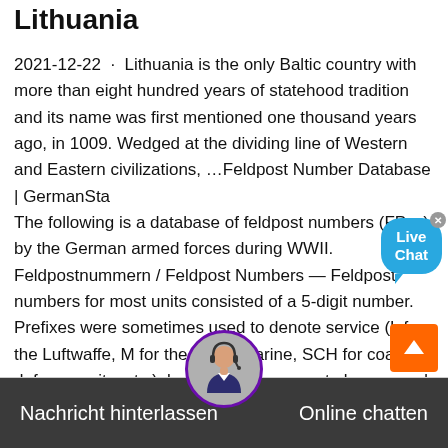Lithuania
2021-12-22 · Lithuania is the only Baltic country with more than eight hundred years of statehood tradition and its name was first mentioned one thousand years ago, in 1009. Wedged at the dividing line of Western and Eastern civilizations, …Feldpost Number Database | GermanStamps The following is a database of feldpost numbers (FP…) by the German armed forces during WWII. Feldpostnummern / Feldpost Numbers — Feldpost numbers for most units consisted of a 5-digit number. Prefixes were sometimes used to denote service (L for the Luftwaffe, M for the Kriegsmarine, SCH for coastal defense units, etc.), but as these were not always used, they …
Nachricht hinterlassen    Online chatten